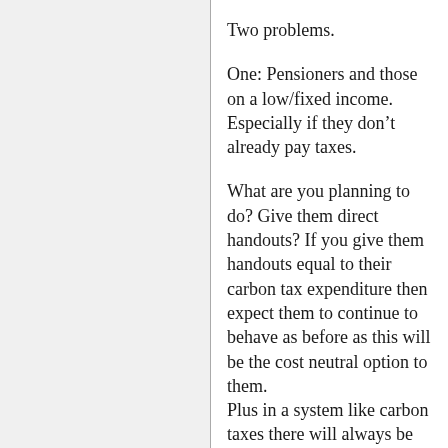Two problems.
One: Pensioners and those on a low/fixed income. Especially if they don’t already pay taxes.
What are you planning to do? Give them direct handouts? If you give them handouts equal to their carbon tax expenditure then expect them to continue to behave as before as this will be the cost neutral option to them.
Plus in a system like carbon taxes there will always be winners and losers. Poor folk that need to commute to work & can’t afford a new car will be hit...